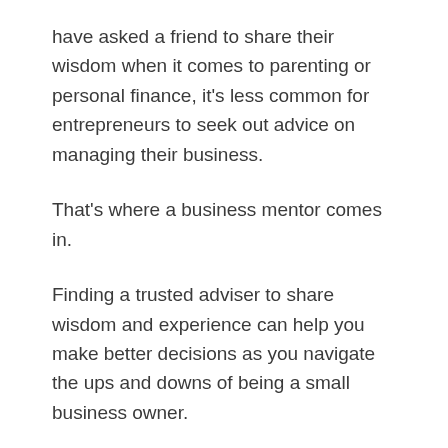have asked a friend to share their wisdom when it comes to parenting or personal finance, it's less common for entrepreneurs to seek out advice on managing their business.
That's where a business mentor comes in.
Finding a trusted adviser to share wisdom and experience can help you make better decisions as you navigate the ups and downs of being a small business owner.
Related: 5 Books Every Business Owner Needs to Read
It can be hard to ask for help. But don't let your pride get in the way of learning from the successes – and mistakes